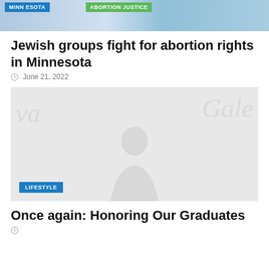[Figure (photo): Top banner image with Minnesota tag and Abortion Justice sign]
Jewish groups fight for abortion rights in Minnesota
June 21, 2022
[Figure (photo): Faded/watermarked lifestyle photo with LIFESTYLE category tag]
Once again: Honoring Our Graduates